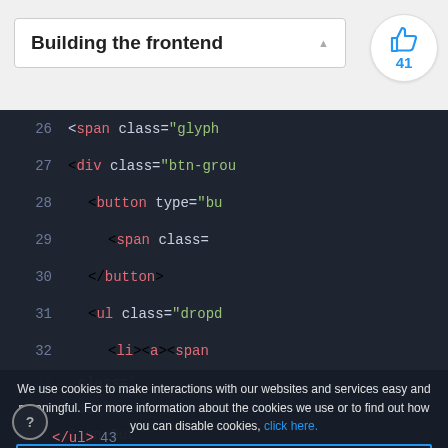Building the frontend
[Figure (screenshot): Code editor showing HTML lines 26-37 with syntax highlighting on dark background. Lines show span, div, button, ul, li elements with class and type attributes.]
We use cookies to make interactions with our websites and services easy and meaningful. For more information about the cookies we use or to find out how you can disable cookies, click here.
Accept cookies and close this message
Disable cookies